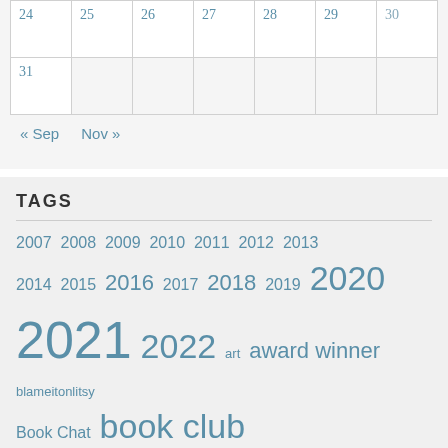| 24 | 25 | 26 | 27 | 28 | 29 | 30 |
| --- | --- | --- | --- | --- | --- | --- |
| 31 |  |  |  |  |  |  |
« Sep   Nov »
TAGS
2007 2008 2009 2010 2011 2012 2013 2014 2015 2016 2017 2018 2019 2020 2021 2022 art award winner blameitonlitsy Book Chat book club pick Book Review books Canadian CBC Challenges challenging chick lit classics classroom library